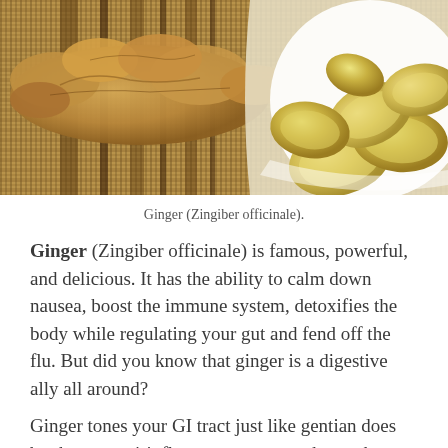[Figure (photo): Photograph of fresh ginger root (Zingiber officinale) on a woven bamboo mat, with sliced ginger pieces in a white dish on the right side.]
Ginger (Zingiber officinale).
Ginger (Zingiber officinale) is famous, powerful, and delicious. It has the ability to calm down nausea, boost the immune system, detoxifies the body while regulating your gut and fend off the flu. But did you know that ginger is a digestive ally all around?
Ginger tones your GI tract just like gentian does but has an anti-inflammatory aspect that makes ginger your go-